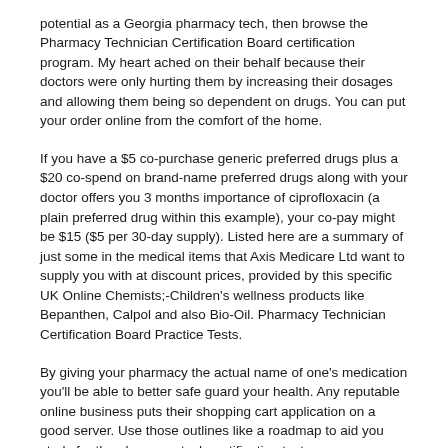potential as a Georgia pharmacy tech, then browse the Pharmacy Technician Certification Board certification program. My heart ached on their behalf because their doctors were only hurting them by increasing their dosages and allowing them being so dependent on drugs. You can put your order online from the comfort of the home.
If you have a $5 co-purchase generic preferred drugs plus a $20 co-spend on brand-name preferred drugs along with your doctor offers you 3 months importance of ciprofloxacin (a plain preferred drug within this example), your co-pay might be $15 ($5 per 30-day supply). Listed here are a summary of just some in the medical items that Axis Medicare Ltd want to supply you with at discount prices, provided by this specific UK Online Chemists;-Children's wellness products like Bepanthen, Calpol and also Bio-Oil. Pharmacy Technician Certification Board Practice Tests.
By giving your pharmacy the actual name of one's medication you'll be able to better safe guard your health. Any reputable online business puts their shopping cart application on a good server. Use those outlines like a roadmap to aid you study for the pharmacy tech certification test.
A reputable company like Canada Drug Center won't ever